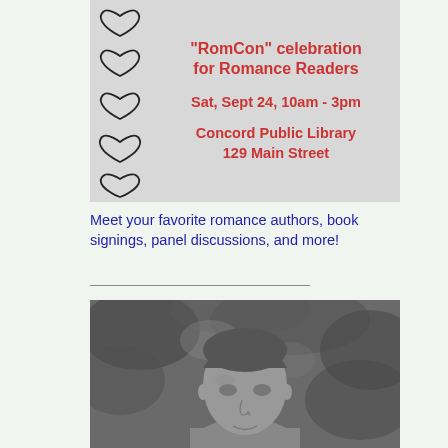[Figure (illustration): RomCon flyer with hand-drawn hearts on gray background. Text reads: "RomCon" celebration for Romance Readers, Sat, Sept 24, 10am - 3pm, Concord Public Library, 129 Main Street]
Meet your favorite romance authors, book signings, panel discussions, and more!
[Figure (photo): Black and white portrait photo of a man with short hair, smiling slightly, with blurred foliage in the background.]